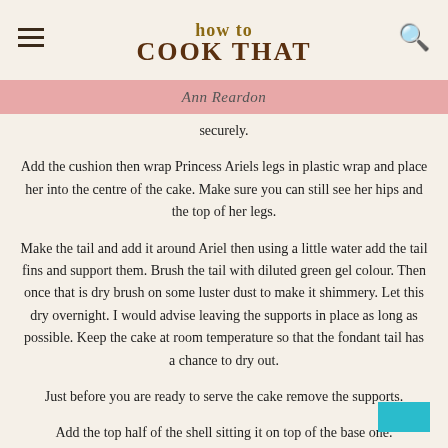how to COOK THAT
Ann Reardon
securely.
Add the cushion then wrap Princess Ariels legs in plastic wrap and place her into the centre of the cake. Make sure you can still see her hips and the top of her legs.
Make the tail and add it around Ariel then using a little water add the tail fins and support them. Brush the tail with diluted green gel colour. Then once that is dry brush on some luster dust to make it shimmery. Let this dry overnight. I would advise leaving the supports in place as long as possible. Keep the cake at room temperature so that the fondant tail has a chance to dry out.
Just before you are ready to serve the cake remove the supports.
Add the top half of the shell sitting it on top of the base one.